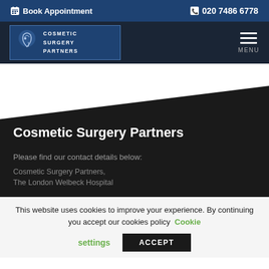Book Appointment   020 7486 6778
[Figure (logo): Cosmetic Surgery Partners logo with stylized face silhouette and text COSMETIC SURGERY PARTNERS]
Cosmetic Surgery Partners
Please find our contact details below:
Cosmetic Surgery Partners,
The London Welbeck Hospital
This website uses cookies to improve your experience. By continuing you accept our cookies policy   Cookie settings   ACCEPT